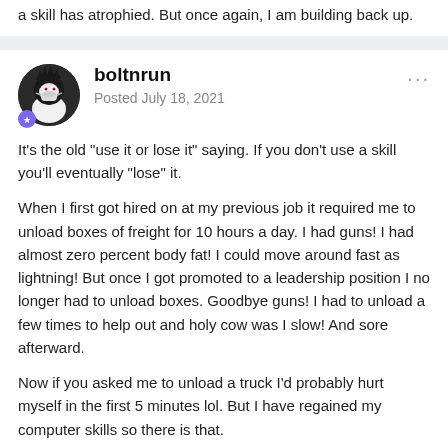a skill has atrophied. But once again, I am building back up.
boltnrun
Posted July 18, 2021
It's the old "use it or lose it" saying.  If you don't use a skill you'll eventually "lose" it.
When I first got hired on at my previous job it required me to unload boxes of freight for 10 hours a day.  I had guns!  I had almost zero percent body fat!  I could move around fast as lightning! But once I got promoted to a leadership position I no longer had to unload boxes.  Goodbye guns!  I had to unload a few times to help out and holy cow was I slow!  And sore afterward.
Now if you asked me to unload a truck I'd probably hurt myself in the first 5 minutes lol.  But I have regained my computer skills so there is that.
I'm sure you'll be back up to speed in no time.